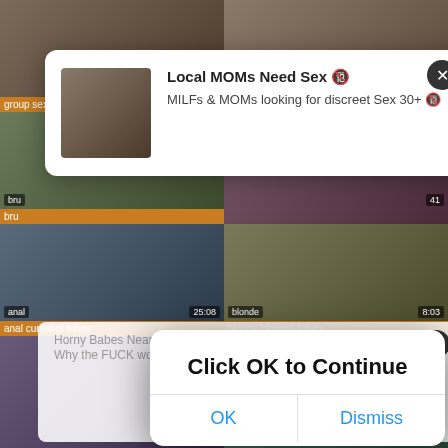[Figure (screenshot): Video thumbnail grid - group sex creampie tubev]
group sex creampie tubev
[Figure (screenshot): Video thumbnail - amateur babe tubev]
amateur babe tubev
[Figure (screenshot): Ad popup 1: Local MOMs Need Sex - MILFs & MOMs looking for discreet Sex 30+]
Local MOMs Need Sex 🔞
MILFs & MOMs looking for discreet Sex 30+ 🔞
[Figure (screenshot): Ad popup 2: Horny Babes Near Ashburn? Why the FUCK would you pay for SEX?]
Horny Babes Near Ashburn? 🔞
Why the FUCK would you pay for SEX? 🔞
[Figure (screenshot): Browser dialog: Click OK to Continue with OK and Dismiss buttons]
Click OK to Continue
OK
Dismiss
anal
25:08
anal cumshot tubev
blonde
8:03
blonde blowjob tubev